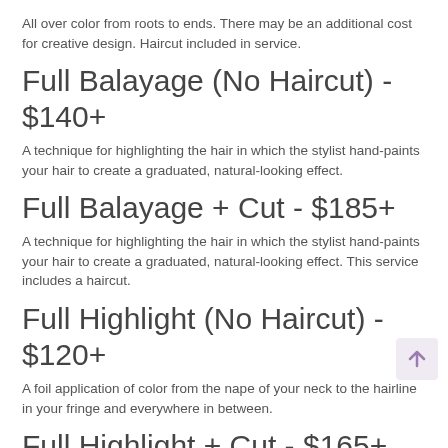All over color from roots to ends. There may be an additional cost for creative design. Haircut included in service.
Full Balayage (No Haircut) - $140+
A technique for highlighting the hair in which the stylist hand-paints your hair to create a graduated, natural-looking effect.
Full Balayage + Cut - $185+
A technique for highlighting the hair in which the stylist hand-paints your hair to create a graduated, natural-looking effect. This service includes a haircut.
Full Highlight (No Haircut) - $120+
A foil application of color from the nape of your neck to the hairline in your fringe and everywhere in between.
Full Highlight + Cut - $165+
A foil application of color from the nape of your neck to the hairline in your fringe and everywhere in between. This service